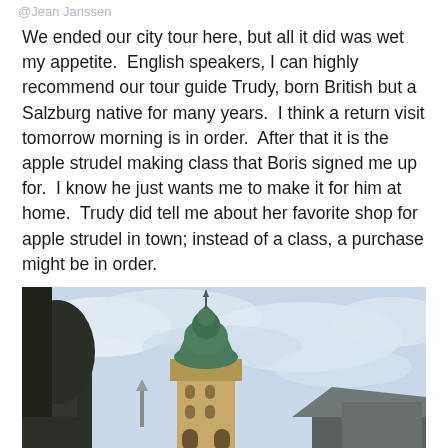@Jean Janssen
We ended our city tour here, but all it did was wet my appetite.  English speakers, I can highly recommend our tour guide Trudy, born British but a Salzburg native for many years.  I think a return visit tomorrow morning is in order.  After that it is the apple strudel making class that Boris signed me up for.  I know he just wants me to make it for him at home.  Trudy did tell me about her favorite shop for apple strudel in town; instead of a class, a purchase might be in order.
[Figure (photo): A church tower with a green baroque dome/cupola against a cloudy sky in Salzburg, with dark trees on the left and rooftops visible on the right.]